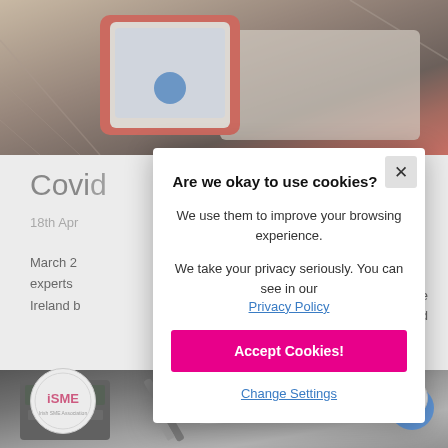[Figure (photo): Top photo of a smartphone with a red case on a wooden desk, screen visible with a blue button]
Covid
18th Apr
March 2... experts... around Ireland b...
[Figure (logo): iSME logo in a circle]
[Figure (infographic): Cookie consent modal dialog with title 'Are we okay to use cookies?', body text, Privacy Policy link, Accept Cookies button, Change Settings link]
[Figure (photo): Bottom photo of calculator, pen and financial documents on a desk, with blue circle button]